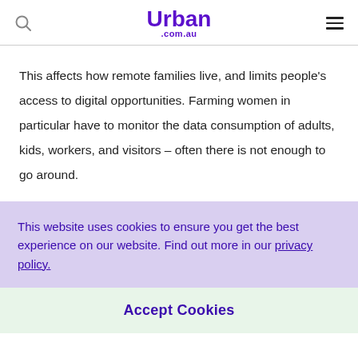Urban .com.au
This affects how remote families live, and limits people’s access to digital opportunities. Farming women in particular have to monitor the data consumption of adults, kids, workers, and visitors – often there is not enough to go around.
This website uses cookies to ensure you get the best experience on our website. Find out more in our privacy policy.
Accept Cookies